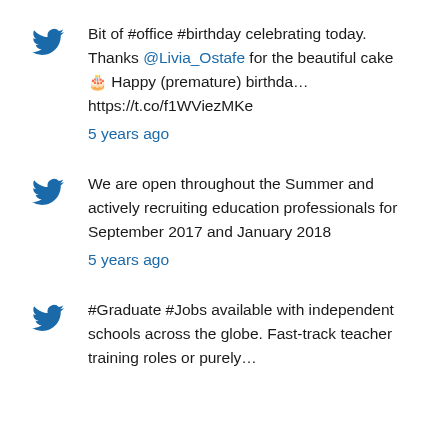Bit of #office #birthday celebrating today. Thanks @Livia_Ostafe for the beautiful cake 🎂 Happy (premature) birthda… https://t.co/f1WViezMKe
5 years ago
We are open throughout the Summer and actively recruiting education professionals for September 2017 and January 2018
5 years ago
#Graduate #Jobs available with independent schools across the globe. Fast-track teacher training roles or purely…